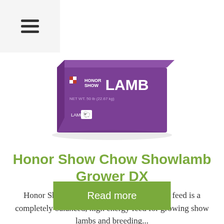☰
[Figure (photo): Purple box of Honor Show Chow Showlamb Grower DX lamb feed product, with 'HONOR SHOW' branding and Purina checkerboard logo, showing 'LAMB' text on side and lamb icon]
Honor Show Chow Showlamb Grower DX
Honor Show Chow Showlamb Grower DX feed is a completely balanced, high energy feed for growing show lambs and breeding...
Read more